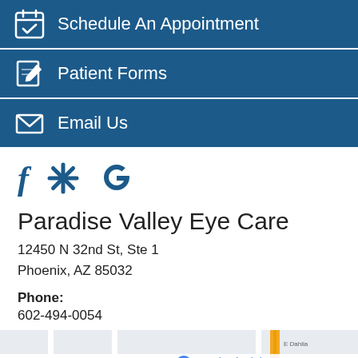Schedule An Appointment
Patient Forms
Email Us
[Figure (infographic): Social media icons: Facebook (f), Yelp (asterisk/flower), Google (G) in dark blue]
Paradise Valley Eye Care
12450 N 32nd St, Ste 1
Phoenix, AZ 85032
Phone:
602-494-0054
[Figure (map): Google Maps snippet showing area around 12450 N 32nd St, Phoenix, AZ 85032, with streets N 28th St, N 29th St, N 34th St, E Dahlia, and a marker for Phoenix Windows & Doors]